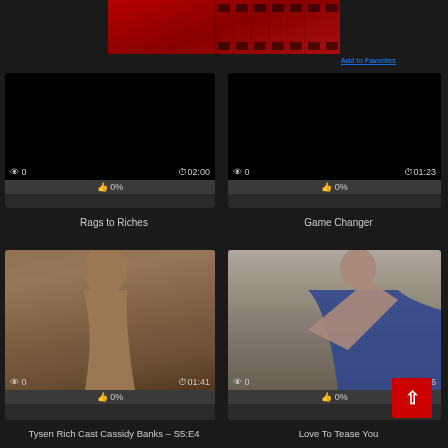[Figure (illustration): Red banner with film strip graphic at top center of page]
Add to Favorites
[Figure (photo): Black thumbnail video card showing 0 views and duration 02:00]
0%
Rags to Riches
[Figure (photo): Black thumbnail video card showing 0 views and duration 01:23]
0%
Game Changer
[Figure (photo): Photo thumbnail of woman with dark hair, video showing 0 views and duration 01:41]
0%
Tysen Rich Cast Cassidy Banks – S5:E4
[Figure (photo): Photo thumbnail of woman in blue lingerie on bed, video showing 0 views and duration 01:16]
0%
Love To Tease You